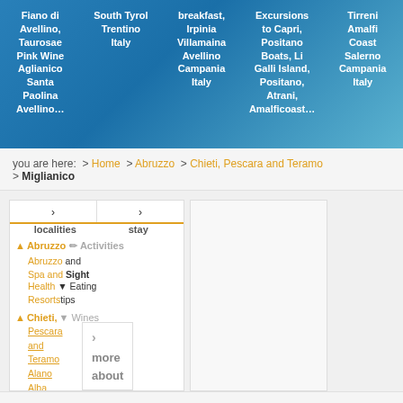[Figure (infographic): Blue gradient banner with 5 columns of white bold text listing Italian travel destinations]
you are here:  > Home  > Abruzzo  > Chieti, Pescara and Teramo  > Miglianico
localities  stay
▲ Abruzzo  Activities and Sight
  Abruzzo Spa and Health Resorts  ▼ Eating tips
▲ Chieti, Pescara and Teramo  ▼ Wines
  Alano
  Alba Adriatica
more
about
print this page
send to a friend by e-mail